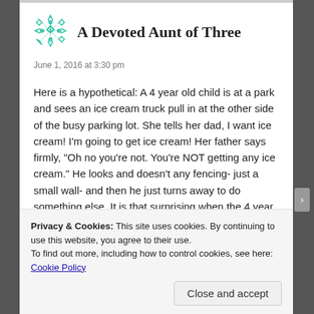[Figure (logo): Green snowflake/geometric logo icon for the blog]
A Devoted Aunt of Three
June 1, 2016 at 3:30 pm
Here is a hypothetical: A 4 year old child is at a park and sees an ice cream truck pull in at the other side of the busy parking lot. She tells her dad, I want ice cream! I'm going to get ice cream! Her father says firmly, "Oh no you're not. You're NOT getting any ice cream." He looks and doesn't any fencing- just a small wall- and then he just turns away to do something else. It is that surprising when the 4 year old takes off, clears the wall, and
Privacy & Cookies: This site uses cookies. By continuing to use this website, you agree to their use.
To find out more, including how to control cookies, see here: Cookie Policy